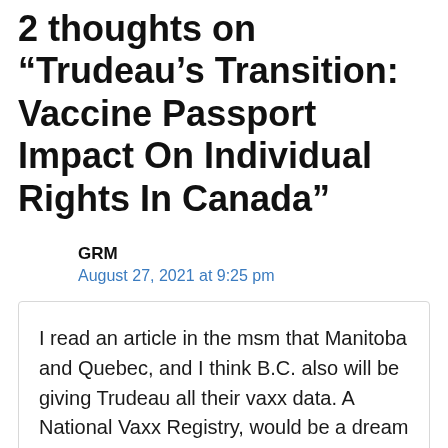2 thoughts on "Trudeau's Transition: Vaccine Passport Impact On Individual Rights In Canada"
GRM
August 27, 2021 at 9:25 pm
I read an article in the msm that Manitoba and Quebec, and I think B.C. also will be giving Trudeau all their vaxx data. A National Vaxx Registry, would be a dream come true for Trudeau and his CCP buddies.